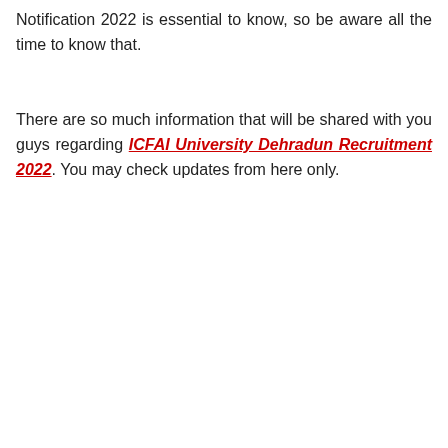Notification 2022 is essential to know, so be aware all the time to know that.
There are so much information that will be shared with you guys regarding ICFAI University Dehradun Recruitment 2022. You may check updates from here only.